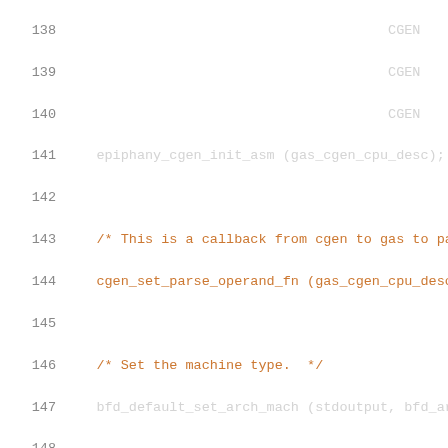Source code listing lines 138-159, C code for epiphany assembler including functions epiphany_cgen_init_asm, md_section_align
[Figure (screenshot): Code editor view showing C source code lines 138-159 with syntax highlighting. Comments in red/orange, keywords in blue, values in cyan, default text in light gray on white background.]